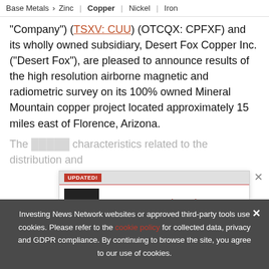Base Metals > Zinc | Copper | Nickel | Iron
"Company") (TSXV: CUU) (OTCQX: CPFXF) and its wholly owned subsidiary, Desert Fox Copper Inc. ("Desert Fox"), are pleased to announce results of the high resolution airborne magnetic and radiometric survey on its 100% owned Mineral Mountain copper project located approximately 15 miles east of Florence, Arizona.
[Figure (infographic): Popup advertisement for 2022 Base Metals Outlook Report by Investing News Network. Shows 'UPDATED!' label in red, book cover image, text 'TOP BASE METALS Stocks, Trends, Forecasts – 2022 Base Metals Outlook Report', and INN logo.]
The ... characteristics related to the distribution and
Investing News Network websites or approved third-party tools use cookies. Please refer to the cookie policy for collected data, privacy and GDPR compliance. By continuing to browse the site, you agree to our use of cookies.